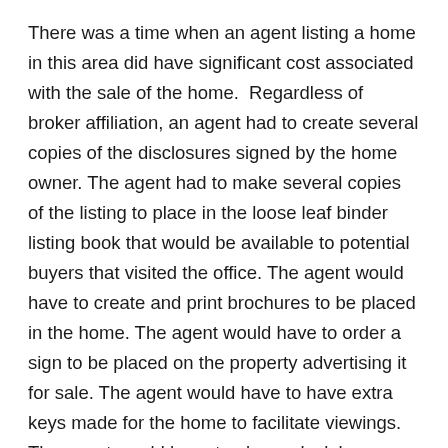There was a time when an agent listing a home in this area did have significant cost associated with the sale of the home. Regardless of broker affiliation, an agent had to create several copies of the disclosures signed by the home owner. The agent had to make several copies of the listing to place in the loose leaf binder listing book that would be available to potential buyers that visited the office. The agent would have to create and print brochures to be placed in the home. The agent would have to order a sign to be placed on the property advertising it for sale. The agent would have to have extra keys made for the home to facilitate viewings. The agent would have to place a lock box on the property. The agent would have to design, print and mail postcards announcing the availability of the home. The agent would have to place ads in the Washington Post and local papers. The agent would have to have open houses available.